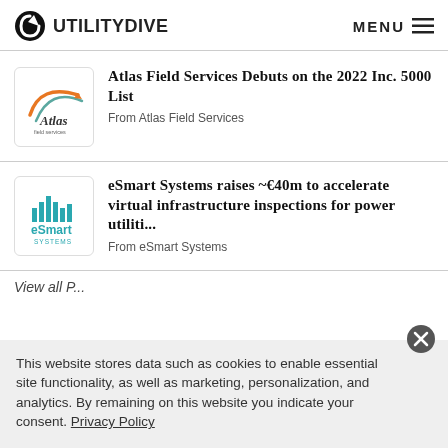UTILITY DIVE  MENU
[Figure (logo): Atlas Field Services logo - circular arrow icon with 'Atlas field services' text]
Atlas Field Services Debuts on the 2022 Inc. 5000 List
From Atlas Field Services
[Figure (logo): eSmart Systems logo - teal bar chart waveform with 'eSmart SYSTEMS' text]
eSmart Systems raises ~€40m to accelerate virtual infrastructure inspections for power utiliti...
From eSmart Systems
View all P...
This website stores data such as cookies to enable essential site functionality, as well as marketing, personalization, and analytics. By remaining on this website you indicate your consent. Privacy Policy